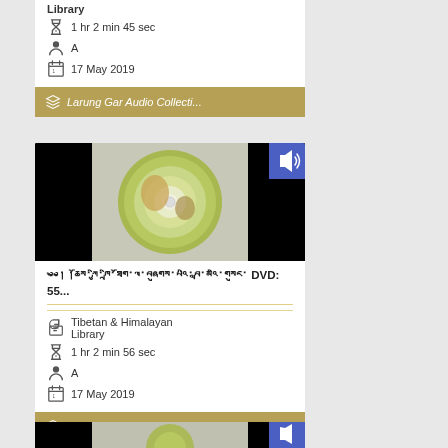Library
1 hr 2 min 45 sec
A
17 May 2019
Larung Gar Audio Collecti...
[Figure (photo): Thumbnail image of a DVD disc with green/gold artwork on black background, with a blue audio speaker badge in top-right corner]
ཆོས་ཀྱི་ཁྲི་ཐོག་ལ་བཞུགས་པའི་བླ་མའི་གསུང་ DVD: 55...
Tibetan & Himalayan Library
1 hr 2 min 56 sec
A
17 May 2019
Larung Gar Audio Collecti...
[Figure (photo): Partial thumbnail of another disc item at bottom of page]